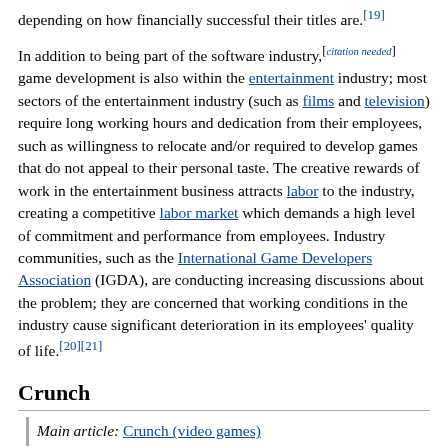depending on how financially successful their titles are.[19]
In addition to being part of the software industry,[citation needed] game development is also within the entertainment industry; most sectors of the entertainment industry (such as films and television) require long working hours and dedication from their employees, such as willingness to relocate and/or required to develop games that do not appeal to their personal taste. The creative rewards of work in the entertainment business attracts labor to the industry, creating a competitive labor market which demands a high level of commitment and performance from employees. Industry communities, such as the International Game Developers Association (IGDA), are conducting increasing discussions about the problem; they are concerned that working conditions in the industry cause significant deterioration in its employees' quality of life.[20][21]
Crunch
Main article: Crunch (video games)
Some video game developers and publishers have been accused of the excessive invocation of "crunch time".[22] "Crunch time" is the